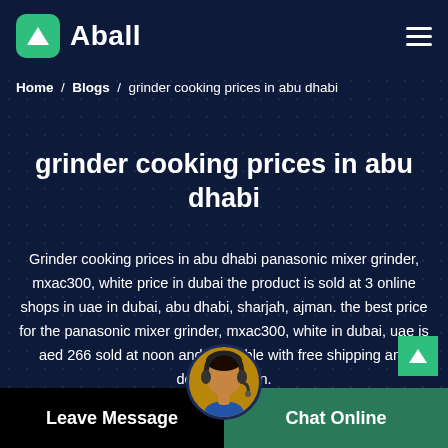Aball
Home / Blogs / grinder cooking prices in abu dhabi
grinder cooking prices in abu dhabi
Grinder cooking prices in abu dhabi panasonic mixer grinder, mxac300, white price in dubai the product is sold at 3 online shops in uae in dubai, abu dhabi, sharjah, ajman. the best price for the panasonic mixer grinder, mxac300, white in dubai, uae is aed 266 sold at noon and available with free shipping and delivery within.
Leave Message   Chat Online